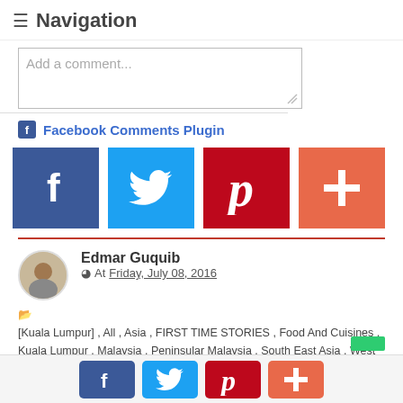≡ Navigation
[Figure (screenshot): Comment text area input box with placeholder 'Add a comment...']
f Facebook Comments Plugin
[Figure (infographic): Social sharing buttons: Facebook (dark blue), Twitter (blue), Pinterest (red), Google+ (orange-red)]
Edmar Guquib
At Friday, July 08, 2016
[Kuala Lumpur] , All , Asia , FIRST TIME STORIES , Food And Cuisines , Kuala Lumpur , Malaysia , Peninsular Malaysia , South East Asia , West Malaysia ,
"The moment I saw the food, I was at least relieved to know that the food is somehow related
[Figure (infographic): Bottom bar social sharing buttons: Facebook, Twitter, Pinterest, Google+]